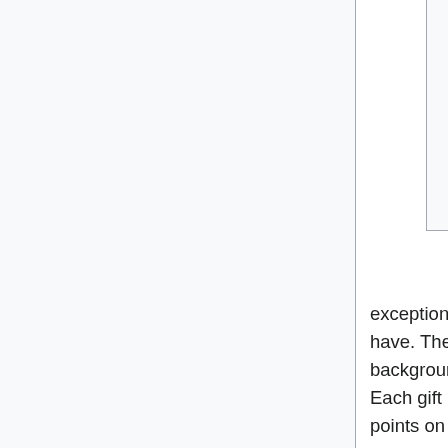2.32 Second Identity
2.33 Sharpshooter
2.34 Sneak Attack
2.35 Spirit Allies
2.36 Team Player
2.37 Tenacious
2.38 Underwater Combat
2.39 Unsettling
2.40 Whirlwind Attack
3 Custom Gifts
exceptional abilities that a normal person can have, but that most people do not have. The details of each gift are highly dependent on a character's background, so the player should work with the GM to flesh out these details. Each gift costs one character point. We suggest spending about 5 character points on gifts.